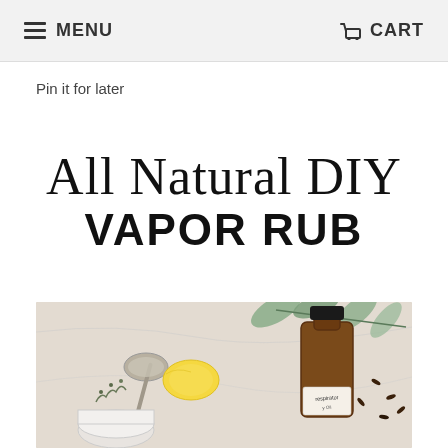MENU   CART
Pin it for later
All Natural DIY VAPOR RUB
[Figure (photo): Flatlay photo of natural ingredients for DIY vapor rub: a tarnished silver spoon, a lemon, eucalyptus leaves, an amber glass bottle labeled 'respiratory [oil]', a white tin of cream, dried herbs, and whole cloves on a white marble surface.]